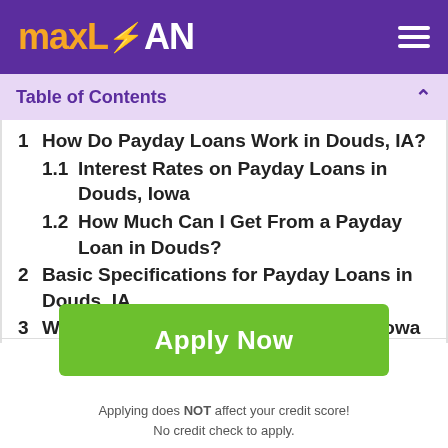MAXLOAN
Table of Contents
1  How Do Payday Loans Work in Douds, IA?
1.1  Interest Rates on Payday Loans in Douds, Iowa
1.2  How Much Can I Get From a Payday Loan in Douds?
2  Basic Specifications for Payday Loans in Douds, IA
3  Ways to get Payday Loans in Douds, Iowa
Apply Now
Applying does NOT affect your credit score! No credit check to apply.